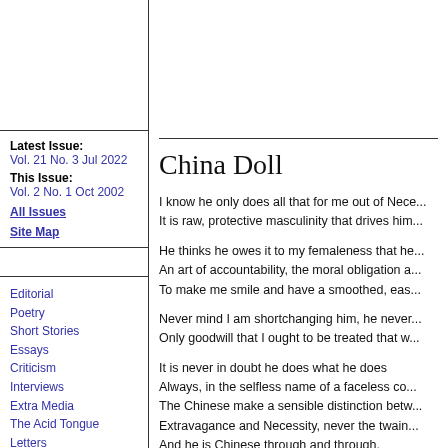Latest Issue:
Vol. 21 No. 3 Jul 2022
This Issue:
Vol. 2 No. 1 Oct 2002
All Issues
Site Map
Editorial
Poetry
Short Stories
Essays
Criticism
Interviews
Extra Media
The Acid Tongue
Letters
About Us
News
Forum
Links
China Doll
I know he only does all that for me out of Nece...
It is raw, protective masculinity that drives him...

He thinks he owes it to my femaleness that he...
An art of accountability, the moral obligation a...
To make me smile and have a smoothed, eas...

Never mind I am shortchanging him, he never...
Only goodwill that I ought to be treated that w...

It is never in doubt he does what he does
Always, in the selfless name of a faceless co...
The Chinese make a sensible distinction betw...
Extravagance and Necessity, never the twain...
And he is Chinese through and through.
Anything more would be a luxury he cannot a...
Which he may not bring himself to buy
Even if he could. We Chinese believe in savin...
For a day that never comes.